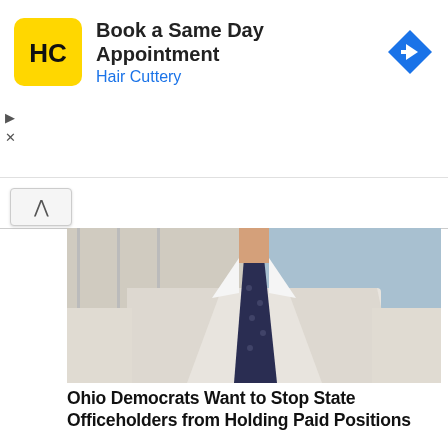[Figure (screenshot): Hair Cuttery advertisement banner with logo, 'Book a Same Day Appointment' text, and navigation arrow icon]
[Figure (photo): Close-up of man in white suit jacket and navy blue polka dot tie, building in background]
Ohio Democrats Want to Stop State Officeholders from Holding Paid Positions
[Figure (photo): Funeral scene outdoors: people in black clothes standing around a casket covered with roses on green grass]